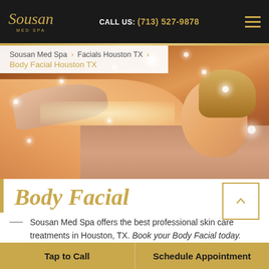Sousan Med Spa | CALL US: (713) 527-9878
Sousan Med Spa › Facials Houston TX › Body Facial Houston TX
[Figure (photo): Spa treatment scene: a woman lying face-down receiving a body scrub/massage treatment, with salt crystals on her back and sparkle light bokeh effects]
Body Facial
Sousan Med Spa offers the best professional skin care treatments in Houston, TX. Book your Body Facial today.
Tap to Call | Schedule Appointment